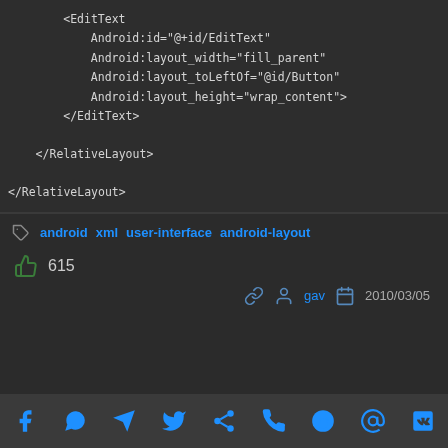<EditText
    Android:id="@+id/EditText"
    Android:layout_width="fill_parent"
    Android:layout_toLeftOf="@id/Button"
    Android:layout_height="wrap_content">
    </EditText>

    </RelativeLayout>

</RelativeLayout>
android  xml  user-interface  android-layout
615
gav  2010/03/05